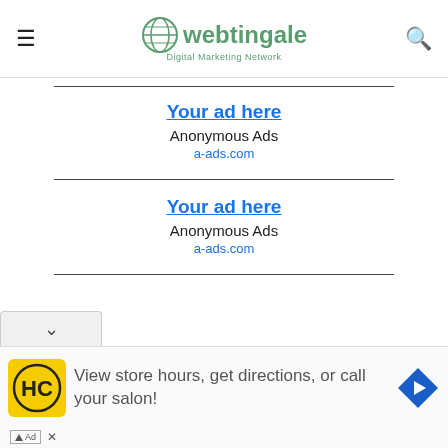webtingale Digital Marketing Network
[Figure (other): Ad placeholder: Your ad here / Anonymous Ads / a-ads.com (first)]
[Figure (other): Ad placeholder: Your ad here / Anonymous Ads / a-ads.com (second)]
[Figure (other): Bottom overlay ad: HC salon logo with text 'View store hours, get directions, or call your salon!' and navigation arrow icon]